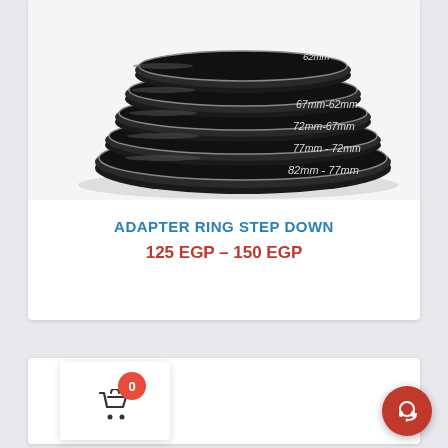[Figure (photo): Stack of black metal step-down adapter rings labeled with sizes: 67mm-62mm, 72mm-67mm, 77mm-72mm, 82mm-77mm, arranged in a curved stack on white background]
ADAPTER RING STEP DOWN
125 EGP – 150 EGP
[Figure (screenshot): E-commerce UI elements: shopping cart icon with badge showing 0 items, and a red circular chat/support button]